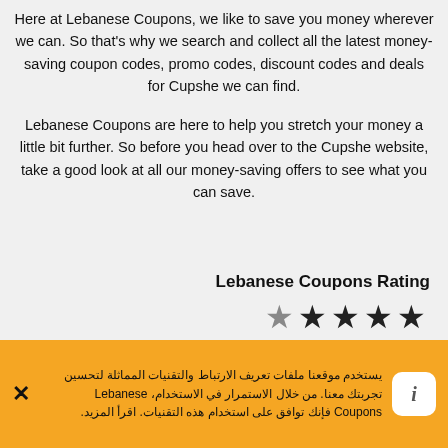Here at Lebanese Coupons, we like to save you money wherever we can. So that's why we search and collect all the latest money-saving coupon codes, promo codes, discount codes and deals for Cupshe we can find.
Lebanese Coupons are here to help you stretch your money a little bit further. So before you head over to the Cupshe website, take a good look at all our money-saving offers to see what you can save.
Lebanese Coupons Rating
[Figure (other): Star rating: 1 half star and 4 full stars]
يستخدم موقعنا ملفات تعريف الارتباط والتقنيات المماثلة لتحسين تجربتك معنا. من خلال الاستمرار في الاستخدام، Lebanese Coupons فإنك توافق على استخدام هذه التقنيات. اقرأ المزيد.